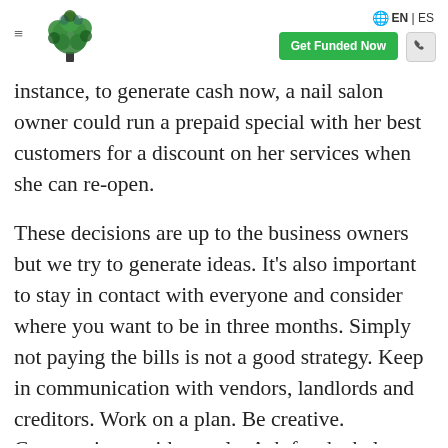EN | ES  Get Funded Now
instance, to generate cash now, a nail salon owner could run a prepaid special with her best customers for a discount on her services when she can re-open.
These decisions are up to the business owners but we try to generate ideas. It’s also important to stay in contact with everyone and consider where you want to be in three months. Simply not paying the bills is not a good strategy. Keep in communication with vendors, landlords and creditors. Work on a plan. Be creative. Communicate with people. Ask for the help you need. It’s hard to see a brighter future right now but we are confident it will come.